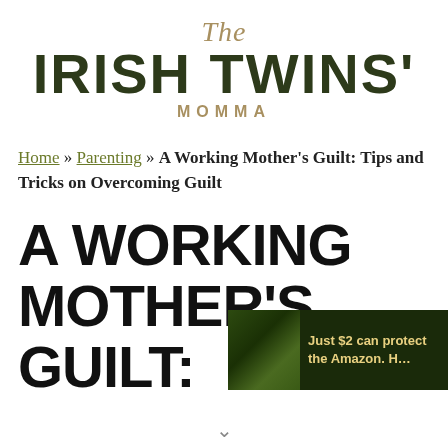The Irish Twins' Momma
Home » Parenting » A Working Mother's Guilt: Tips and Tricks on Overcoming Guilt
A WORKING MOTHER'S GUILT:
[Figure (photo): Advertisement overlay showing rainforest/Amazon imagery with text: Just $2 can protect the Amazon. H...]